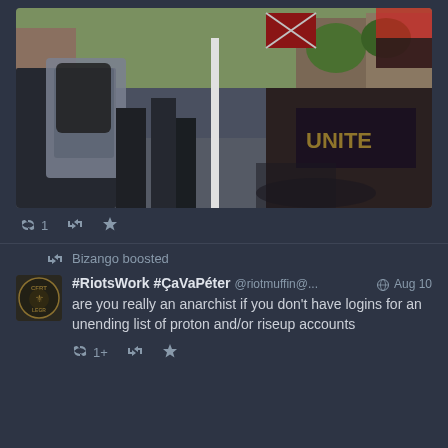[Figure (photo): Outdoor scene of people clashing at a street protest/rally, some holding flags and shields, in an urban setting with trees and brick buildings visible]
1 [retweet icon] [star icon]
Bizango boosted
#RiotsWork #ÇaVaPéter @riotmuffin@... Aug 10
are you really an anarchist if you don't have logins for an unending list of proton and/or riseup accounts
1+ [retweet icon] [star icon]